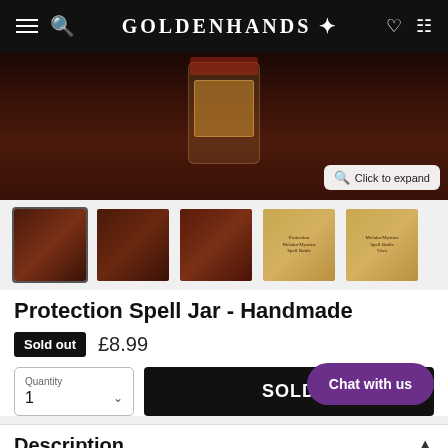GOLDENHANDS
[Figure (photo): Close-up photo of a protection spell jar with yellow herbal contents and an ornate label, placed on a dark wooden surface]
[Figure (photo): Thumbnail 1: Spell jar with dark background]
[Figure (photo): Thumbnail 2: Spell jar alternate view]
[Figure (photo): Thumbnail 3: Spell jar close-up]
[Figure (photo): Thumbnail 4: Protection Melaka-Mystica Spell Bottle label]
[Figure (photo): Thumbnail 5: Melaka-Mystica Spell Bottle label close-up]
Protection Spell Jar - Handmade
Sold out  £8.99
Quantity 1
SOLD
Chat with us
Description